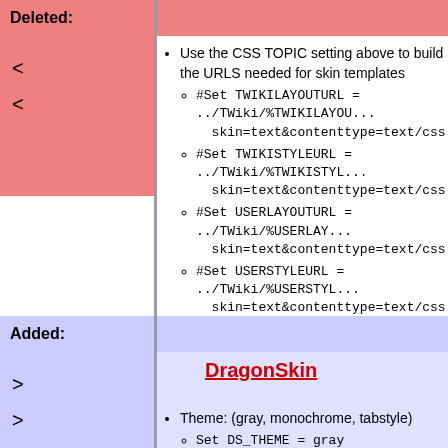Deleted:
< <
Use the CSS TOPIC setting above to build the URLS needed for skin templates
#Set TWIKILAYOUTURL = ../TWiki/%TWIKILAYOUTURL skin=text&contenttype=text/css
#Set TWIKISTYLEURL = ../TWiki/%TWIKISTYLEURL skin=text&contenttype=text/css
#Set USERLAYOUTURL = ../TWiki/%USERLAYOUTURL skin=text&contenttype=text/css
#Set USERSTYLEURL = ../TWiki/%USERSTYLEURL skin=text&contenttype=text/css
Added:
> >
DragonSkin
Theme: (gray, monochrome, tabstyle)
Set DS_THEME = gray
Quicklinks headings:
Set DS_QUICKLINKSHEADING